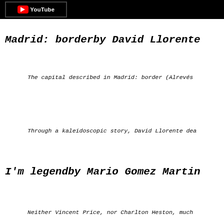[Figure (screenshot): Black top bar with YouTube logo button]
Madrid: borderby David Llorente
The capital described in Madrid: border (Alrevés
Through a kaleidoscopic story, David Llorente dea
I'm legendby Mario Gomez Martin
Neither Vincent Price, nor Charlton Heston, much